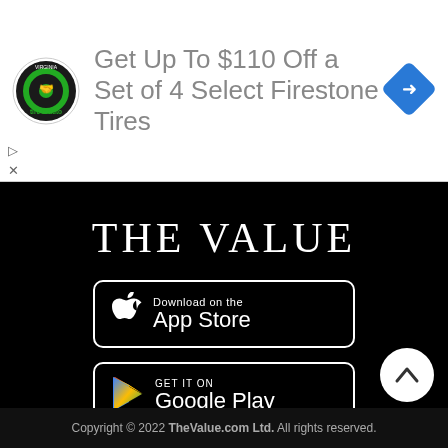[Figure (screenshot): Advertisement banner: tire & auto logo, text 'Get Up To $110 Off a Set of 4 Select Firestone Tires', blue diamond navigation icon]
THE VALUE
[Figure (logo): Download on the App Store button]
[Figure (logo): Get it on Google Play button]
Direct Download
Contact Us
Recruitment
Privacy Policy
Copyright © 2022 TheValue.com Ltd. All rights reserved.